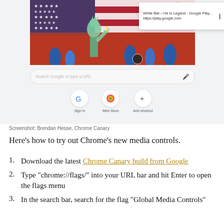[Figure (screenshot): Screenshot of Google Chrome new tab page showing Google Doodle with Statue of Liberty and fireworks, a media playback popup showing 'White Bat - He Is Legend - Google Play... https://play.google.com', a search bar, and shortcut icons for Sign in, Web Store, and Add shortcut.]
Screenshot: Brendan Hesse, Chrome Canary
Here’s how to try out Chrome’s new media controls.
Download the latest Chrome Canary build from Google
Type “chrome://flags/” into your URL bar and hit Enter to open the flags menu
In the search bar, search for the flag “Global Media Controls”
Set the toggle next to it to “Enabled”